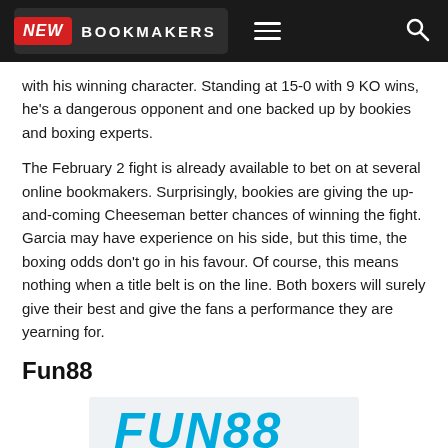NEW BOOKMAKERS
with his winning character. Standing at 15-0 with 9 KO wins, he's a dangerous opponent and one backed up by bookies and boxing experts.
The February 2 fight is already available to bet on at several online bookmakers. Surprisingly, bookies are giving the up-and-coming Cheeseman better chances of winning the fight. Garcia may have experience on his side, but this time, the boxing odds don't go in his favour. Of course, this means nothing when a title belt is on the line. Both boxers will surely give their best and give the fans a performance they are yearning for.
Fun88
[Figure (logo): Fun88 logo in cyan/blue italic bold text on light grey background]